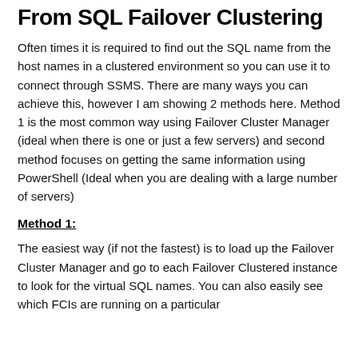From SQL Failover Clustering
Often times it is required to find out the SQL name from the host names in a clustered environment so you can use it to connect through SSMS. There are many ways you can achieve this, however I am showing 2 methods here. Method 1 is the most common way using Failover Cluster Manager (ideal when there is one or just a few servers) and second method focuses on getting the same information using PowerShell (Ideal when you are dealing with a large number of servers)
Method 1:
The easiest way (if not the fastest) is to load up the Failover Cluster Manager and go to each Failover Clustered instance to look for the virtual SQL names. You can also easily see which FCIs are running on a particular